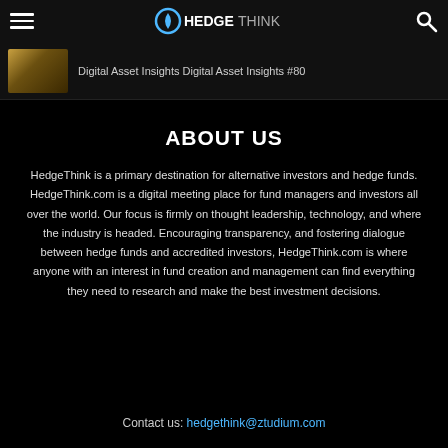HedgeThink
Digital Asset Insights Digital Asset Insights #80
ABOUT US
HedgeThink is a primary destination for alternative investors and hedge funds. HedgeThink.com is a digital meeting place for fund managers and investors all over the world. Our focus is firmly on thought leadership, technology, and where the industry is headed. Encouraging transparency, and fostering dialogue between hedge funds and accredited investors, HedgeThink.com is where anyone with an interest in fund creation and management can find everything they need to research and make the best investment decisions.
Contact us: hedgethink@ztudium.com